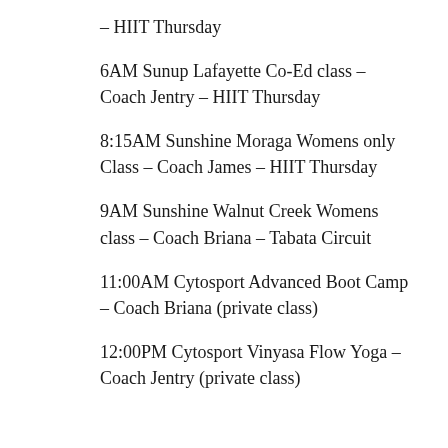– HIIT Thursday
6AM Sunup Lafayette Co-Ed class – Coach Jentry – HIIT Thursday
8:15AM Sunshine Moraga Womens only Class – Coach James – HIIT Thursday
9AM Sunshine Walnut Creek Womens class – Coach Briana – Tabata Circuit
11:00AM Cytosport Advanced Boot Camp – Coach Briana (private class)
12:00PM Cytosport Vinyasa Flow Yoga – Coach Jentry (private class)